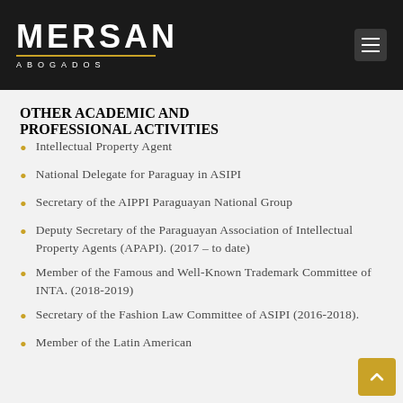MERSAN ABOGADOS
OTHER ACADEMIC AND PROFESSIONAL ACTIVITIES
Intellectual Property Agent
National Delegate for Paraguay in ASIPI
Secretary of the AIPPI Paraguayan National Group
Deputy Secretary of the Paraguayan Association of Intellectual Property Agents (APAPI). (2017 – to date)
Member of the Famous and Well-Known Trademark Committee of INTA. (2018-2019)
Secretary of the Fashion Law Committee of ASIPI (2016-2018).
Member of the Latin American…